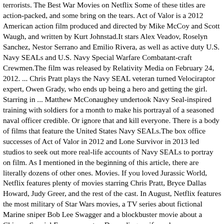terrorists. The Best War Movies on Netflix Some of these titles are action-packed, and some bring on the tears. Act of Valor is a 2012 American action film produced and directed by Mike McCoy and Scott Waugh, and written by Kurt Johnstad.It stars Alex Veadov, Roselyn Sanchez, Nestor Serrano and Emilio Rivera, as well as active duty U.S. Navy SEALs and U.S. Navy Special Warfare Combatant-craft Crewmen.The film was released by Relativity Media on February 24, 2012. ... Chris Pratt plays the Navy SEAL veteran turned Velociraptor expert, Owen Grady, who ends up being a hero and getting the girl. Starring in ... Matthew McConaughey undertook Navy Seal-inspired training with soldiers for a month to make his portrayal of a seasoned naval officer credible. Or ignore that and kill everyone. There is a body of films that feature the United States Navy SEALs.The box office successes of Act of Valor in 2012 and Lone Survivor in 2013 led studios to seek out more real-life accounts of Navy SEALs to portray on film. As I mentioned in the beginning of this article, there are literally dozens of other ones. Movies. If you loved Jurassic World, Netflix features plenty of movies starring Chris Pratt, Bryce Dallas Howard, Judy Greer, and the rest of the cast. In August, Netflix features the most military of Star Wars movies, a TV series about fictional Marine sniper Bob Lee Swagger and a blockbuster movie about a Chinese Special Forces operator. Depending on if you have any fascination with the military. Find out if 'Lone Survivor' is available to stream on Netflix by using Flixboss - the unofficial Netflix guide. But The Unit shows a different kind of reality on a parallel scenario.. The Best War Movies On Netflix Provide a Searing Look at Humanity. 7 shares. The 6 best Navy SEAL documentaries online. They used to be cool and all over TV, but perhaps incorrectly. Seal Team 6 and Operation they should be